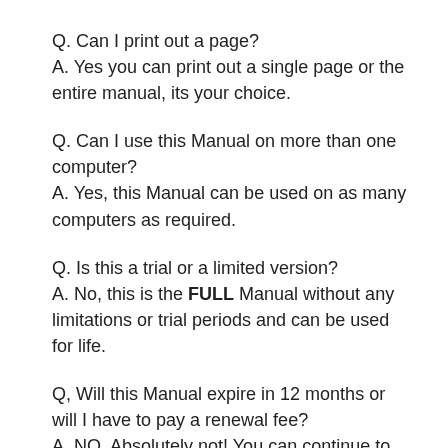Q. Can I print out a page?
A. Yes you can print out a single page or the entire manual, its your choice.
Q. Can I use this Manual on more than one computer?
A. Yes, this Manual can be used on as many computers as required.
Q. Is this a trial or a limited version?
A. No, this is the FULL Manual without any limitations or trial periods and can be used for life.
Q, Will this Manual expire in 12 months or will I have to pay a renewal fee?
A. NO, Absolutely not! You can continue to use this Manual for life without the need to renew or pay any